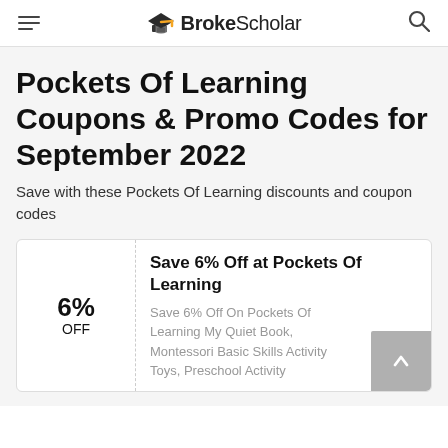BrokeScholar
Pockets Of Learning Coupons & Promo Codes for September 2022
Save with these Pockets Of Learning discounts and coupon codes
6% OFF
Save 6% Off at Pockets Of Learning
Save 6% Off On Pockets Of Learning My Quiet Book, Montessori Basic Skills Activity Toys, Preschool Activity